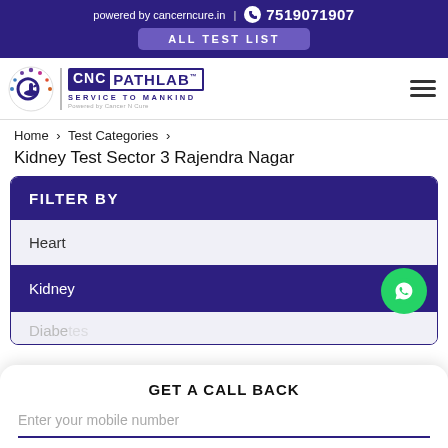powered by cancerncure.in | 7519071907
ALL TEST LIST
[Figure (logo): CNC PathLab logo with circular icon, text CNC PATHLAB SERVICE TO MANKIND, Powered by Cancer N Cure]
Home > Test Categories > Kidney Test Sector 3 Rajendra Nagar
Kidney Test Sector 3 Rajendra Nagar
FILTER BY
Heart
Kidney
GET A CALL BACK
Enter your mobile number